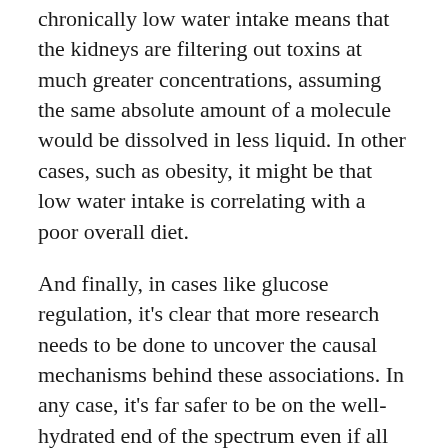chronically low water intake means that the kidneys are filtering out toxins at much greater concentrations, assuming the same absolute amount of a molecule would be dissolved in less liquid. In other cases, such as obesity, it might be that low water intake is correlating with a poor overall diet.
And finally, in cases like glucose regulation, it’s clear that more research needs to be done to uncover the causal mechanisms behind these associations. In any case, it’s far safer to be on the well-hydrated end of the spectrum even if all the science isn’t in yet.
Much of the initial work on hydration might have not have measured it correctly. Traditionally, the gold standard for hydration has been the